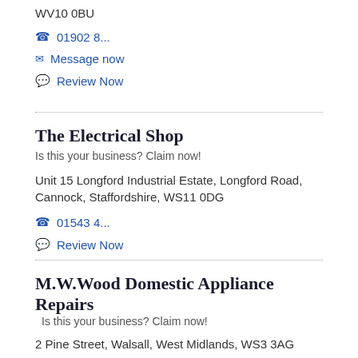WV10 0BU
☎ 01902 8...
✉ Message now
💬 Review Now
The Electrical Shop
Is this your business? Claim now!
Unit 15 Longford Industrial Estate, Longford Road, Cannock, Staffordshire, WS11 0DG
☎ 01543 4...
💬 Review Now
M.W.Wood Domestic Appliance Repairs
Is this your business? Claim now!
2 Pine Street, Walsall, West Midlands, WS3 3AG